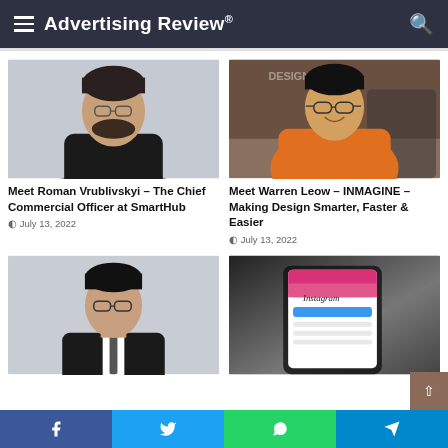Advertising Review®
[Figure (photo): Portrait photo of Roman Vrublivskyi, a man in a black t-shirt against a grey background]
Meet Roman Vrublivskyi – The Chief Commercial Officer at SmartHub
July 13, 2022
[Figure (photo): Photo of Warren Leow smiling, wearing an orange shirt, with DESIGNS text visible in background]
Meet Warren Leow – INMAGINE – Making Design Smarter, Faster & Easier
July 13, 2022
[Figure (photo): Portrait photo of a young man wearing glasses and a suit with tie against a grey background]
[Figure (photo): Photo of a hand holding a smartphone displaying the Instagram login page]